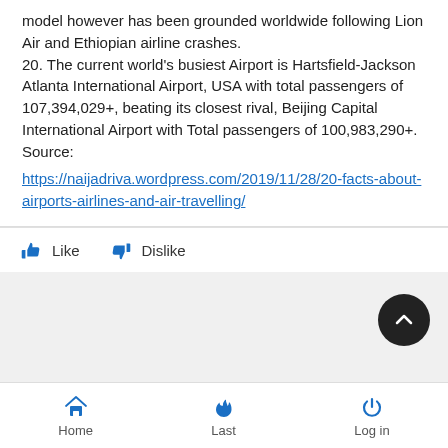model however has been grounded worldwide following Lion Air and Ethiopian airline crashes. 20. The current world's busiest Airport is Hartsfield-Jackson Atlanta International Airport, USA with total passengers of 107,394,029+, beating its closest rival, Beijing Capital International Airport with Total passengers of 100,983,290+. Source:
https://naijadriva.wordpress.com/2019/11/28/20-facts-about-airports-airlines-and-air-travelling/
Like  Dislike
Home  Last  Log in